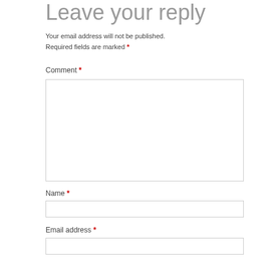Leave your reply
Your email address will not be published. Required fields are marked *
Comment *
[Figure (other): Large comment textarea input box]
Name *
[Figure (other): Name text input box]
Email address *
[Figure (other): Email address text input box]